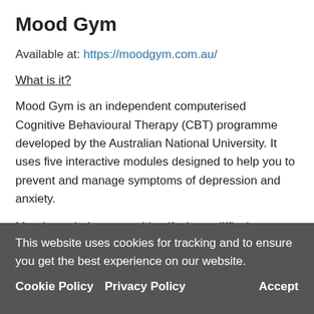Mood Gym
Available at: https://moodgym.com.au/
What is it?
Mood Gym is an independent computerised Cognitive Behavioural Therapy (CBT) programme developed by the Australian National University. It uses five interactive modules designed to help you to prevent and manage symptoms of depression and anxiety.
Mood gym helps you to identify those difficult emotions that you are living with, then helps you to develop coping strategies to overcome them.
What does it involve?
This website uses cookies for tracking and to ensure you get the best experience on our website. Cookie Policy   Privacy Policy   Accept